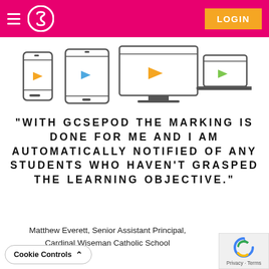GCSEPod navigation header with login button
[Figure (illustration): Four device icons (smartphone, tablet, desktop monitor, laptop) each showing a play button in orange, blue/orange, orange, and green respectively, outline style icons]
“WITH GCSEPOD THE MARKING IS DONE FOR ME AND I AM AUTOMATICALLY NOTIFIED OF ANY STUDENTS WHO HAVEN’T GRASPED THE LEARNING OBJECTIVE.”
Matthew Everett, Senior Assistant Principal, Cardinal Wiseman Catholic School